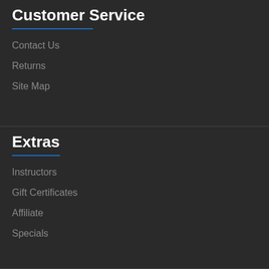Customer Service
Contact Us
Returns
Site Map
Extras
Instructors
Gift Certificates
Affiliate
Specials